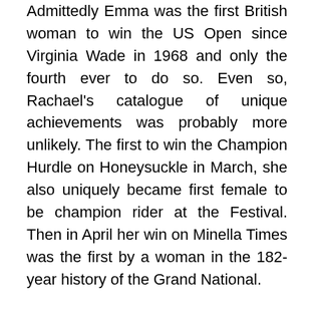Admittedly Emma was the first British woman to win the US Open since Virginia Wade in 1968 and only the fourth ever to do so. Even so, Rachael's catalogue of unique achievements was probably more unlikely. The first to win the Champion Hurdle on Honeysuckle in March, she also uniquely became first female to be champion rider at the Festival. Then in April her win on Minella Times was the first by a woman in the 182-year history of the Grand National.
The 2021 dominance at the top level among staying chasers enjoyed by Henry De Bromhead and illustrated by A Plus Tard's bloodless victory in the Betfair Chase at